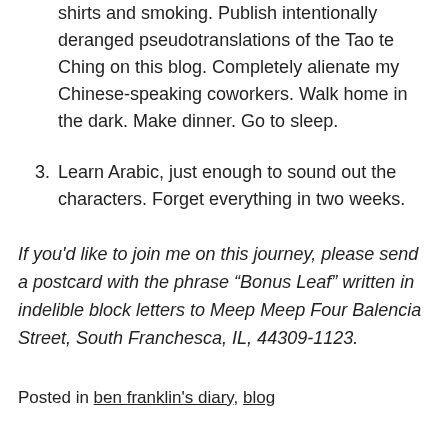shirts and smoking. Publish intentionally deranged pseudotranslations of the Tao te Ching on this blog. Completely alienate my Chinese-speaking coworkers. Walk home in the dark. Make dinner. Go to sleep.
3. Learn Arabic, just enough to sound out the characters. Forget everything in two weeks.
If you'd like to join me on this journey, please send a postcard with the phrase “Bonus Leaf” written in indelible block letters to Meep Meep Four Balencia Street, South Franchesca, IL, 44309-1123.
Posted in ben franklin's diary, blog